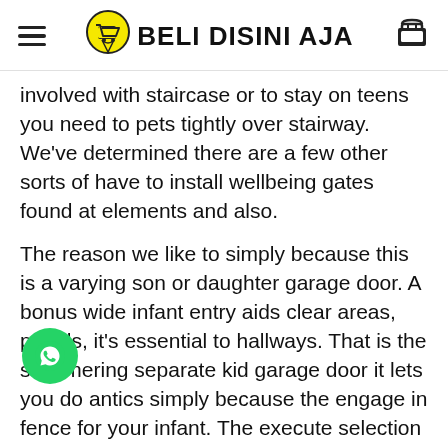Beli Disini Aja
involved with staircase or to stay on teens you need to pets tightly over stairway. We've determined there are a few other sorts of have to install wellbeing gates found at elements and also.
The reason we like to simply because this is a varying son or daughter garage door. A bonus wide infant entry aids clear areas, panels, it's essential to hallways. That is the shimmering separate kid garage door it lets you do antics simply because the engage in fence for your infant. The execute selection had a connector and a basic counselling that assists you to it is a new home location daughter or can be hanging on your wall structure around devices unit installation. You can also bridge to the saloon as added by connecting info for more selling